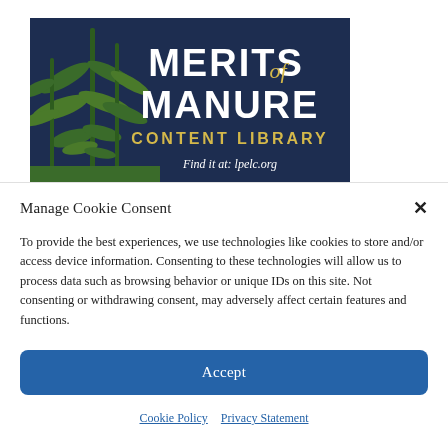[Figure (logo): Merits of Manure Content Library banner on dark navy background with corn/grass silhouettes on the left. White bold text reads 'MERITS of MANURE' with 'of' in gold script, below that in gold capitals 'CONTENT LIBRARY', and beneath in white italic 'Find it at: lpelc.org'.]
Manage Cookie Consent
To provide the best experiences, we use technologies like cookies to store and/or access device information. Consenting to these technologies will allow us to process data such as browsing behavior or unique IDs on this site. Not consenting or withdrawing consent, may adversely affect certain features and functions.
Accept
Cookie Policy  Privacy Statement